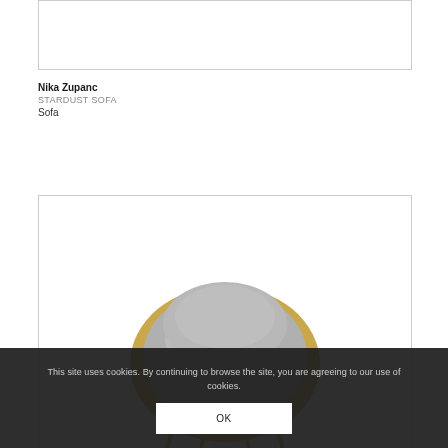[Figure (photo): Top portion of a product image (white/empty area with border, cropped at top)]
Nika Zupanc
STARDUST SOFA
Sofa
[Figure (photo): Product photo of a sofa (Stardust Sofa by Nika Zupanc) — top-down view showing a rounded gray cushion with gold/brass trim legs, viewed from above]
This site uses cookies. By continuing to browse the site, you are agreeing to our use of cookies.
OK